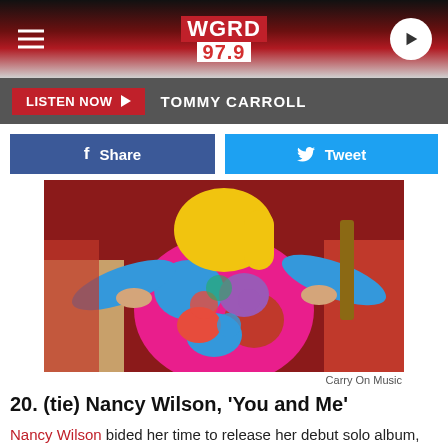WGRD 97.9
LISTEN NOW  TOMMY CARROLL
[Figure (photo): Woman in colorful floral outfit posing in or near a red classic car]
Carry On Music
20. (tie) Nancy Wilson, 'You and Me'
Nancy Wilson bided her time to release her debut solo album, but it was worth the wait. You and Me sees Wilson in